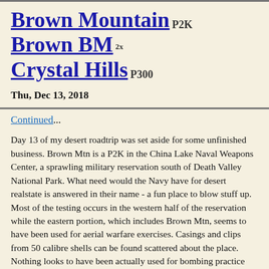Brown Mountain P2K
Brown BM 2x
Crystal Hills P300
Thu, Dec 13, 2018
Continued...
Day 13 of my desert roadtrip was set aside for some unfinished business. Brown Mtn is a P2K in the China Lake Naval Weapons Center, a sprawling military reservation south of Death Valley National Park. What need would the Navy have for desert realstate is answered in their name - a fun place to blow stuff up. Most of the testing occurs in the western half of the reservation while the eastern portion, which includes Brown Mtn, seems to have been used for aerial warfare exercises. Casings and clips from 50 calibre shells can be found scattered about the place. Nothing looks to have been actually used for bombing practice outside a few designated aerial target areas in some of the remote valleys. There's